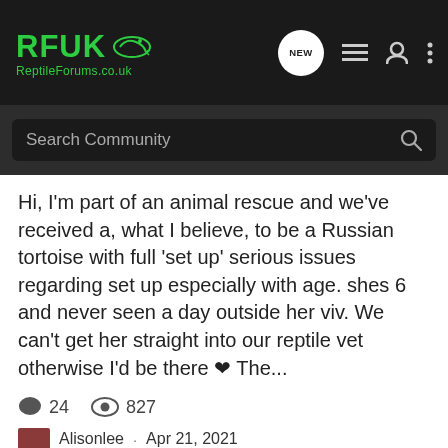RFUK Reptile Forums.co.uk — navigation bar with search
Hi, I'm part of an animal rescue and we've received a, what I believe, to be a Russian tortoise with full 'set up' serious issues regarding set up especially with age. shes 6 and never seen a day outside her viv. We can't get her straight into our reptile vet otherwise I'd be there ❤ The...
24  827
Alisonlee · Apr 21, 2021
help & advice   tortoise   urgent
Urgent Advice Needed
Lizards
I have a 8 month old male Veiled/Yemen chameleon who's had a sudden turn. Over the past couple of days, he has